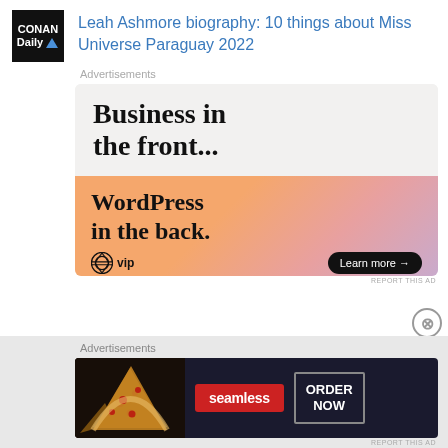[Figure (logo): CONAN Daily logo — black square with white text 'CONAN Daily' and blue triangle]
Leah Ashmore biography: 10 things about Miss Universe Paraguay 2022
Advertisements
[Figure (illustration): WordPress VIP advertisement: top section on light gray background reads 'Business in the front...' in bold serif; bottom section on orange-to-pink gradient reads 'WordPress in the back.' with WordPress VIP logo and 'Learn more →' button]
REPORT THIS AD
Advertisements
[Figure (illustration): Seamless food delivery advertisement: dark background with pizza image on left, red 'seamless' badge in center, and 'ORDER NOW' button on right]